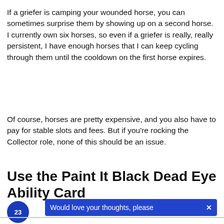If a griefer is camping your wounded horse, you can sometimes surprise them by showing up on a second horse. I currently own six horses, so even if a griefer is really, really persistent, I have enough horses that I can keep cycling through them until the cooldown on the first horse expires.
Of course, horses are pretty expensive, and you also have to pay for stable slots and fees. But if you're rocking the Collector role, none of this should be an issue.
Use the Paint It Black Dead Eye Ability Card
Would love your thoughts, please